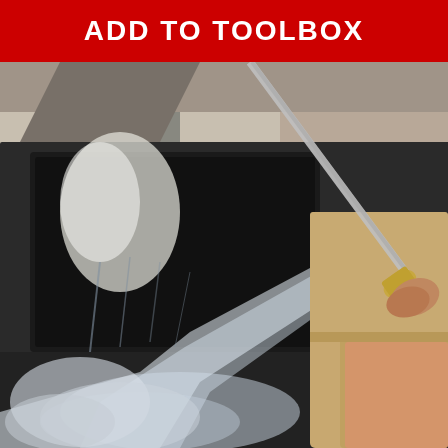ADD TO TOOLBOX
[Figure (photo): A person wearing khaki shorts and holding a metal spray wand with a brass nozzle, pressure washing a dark-colored car door. Water and foam spray visibly against the car surface.]